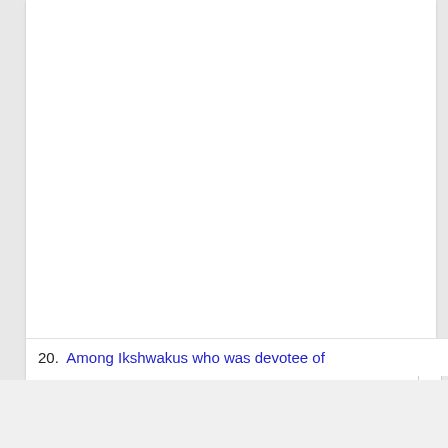20.  Among Ikshwakus who was devotee of